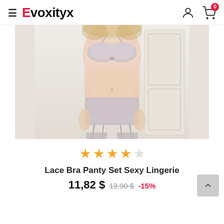≡ Evoxityx
[Figure (photo): Woman modeling a lace bra panty set lingerie in light pink/nude color with garter belt and stockings, posed in a white interior setting]
★★★★☆ (4 out of 5 stars)
Lace Bra Panty Set Sexy Lingerie
11,82 $  13,90 $  -15%